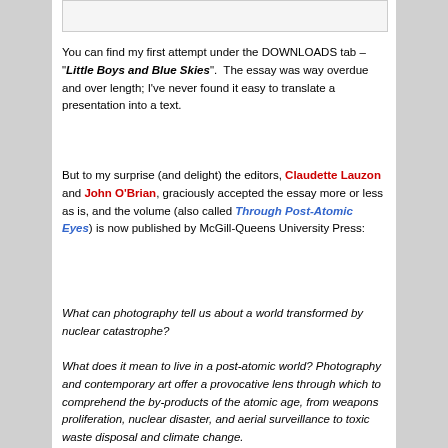[Figure (other): Partial image visible at top of page, appears to be a photograph, mostly cropped out]
You can find my first attempt under the DOWNLOADS tab – “Little Boys and Blue Skies”.  The essay was way overdue and over length; I’ve never found it easy to translate a presentation into a text.
But to my surprise (and delight) the editors, Claudette Lauzon and John O’Brian, graciously accepted the essay more or less as is, and the volume (also called Through Post-Atomic Eyes) is now published by McGill-Queens University Press:
What can photography tell us about a world transformed by nuclear catastrophe?
What does it mean to live in a post-atomic world? Photography and contemporary art offer a provocative lens through which to comprehend the by-products of the atomic age, from weapons proliferation, nuclear disaster, and aerial surveillance to toxic waste disposal and climate change.